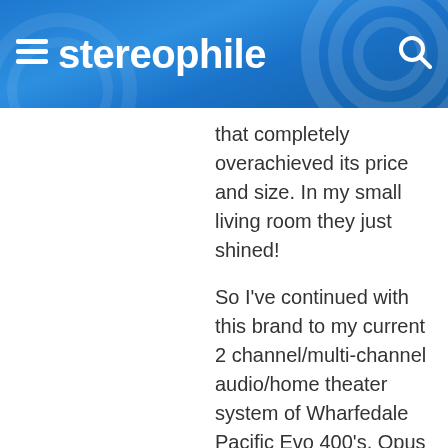stereophile
that completely overachieved its price and size. In my small living room they just shined!

So I've continued with this brand to my current 2 channel/multi-channel audio/home theater system of Wharfedale Pacific Evo 400's, Opus Centre and 100's for the "surround" channels (that are better suited for music than movies, as is my preference/prejudice). And a